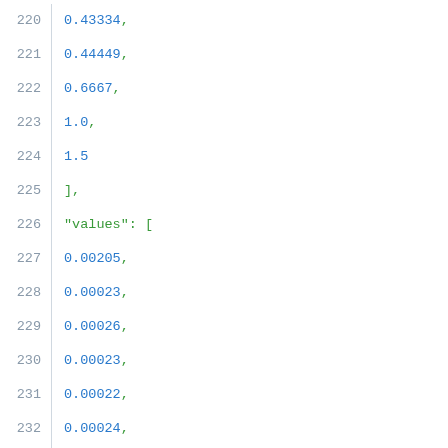Code listing lines 220-241 showing JSON array data with keys and numeric values